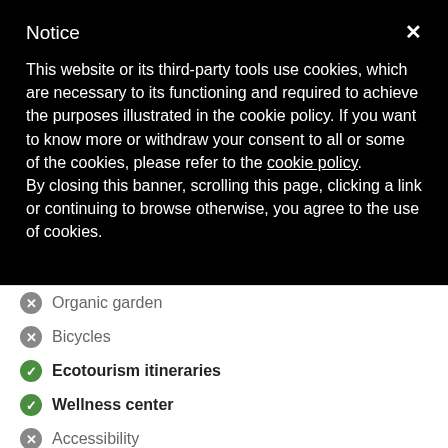Notice
This website or its third-party tools use cookies, which are necessary to its functioning and required to achieve the purposes illustrated in the cookie policy. If you want to know more or withdraw your consent to all or some of the cookies, please refer to the cookie policy.
By closing this banner, scrolling this page, clicking a link or continuing to browse otherwise, you agree to the use of cookies.
Organic garden
Bicycles
Ecotourism itineraries
Wellness center
Accessibility
Starting from 105,00 €
7 Reviews
Choose your dates